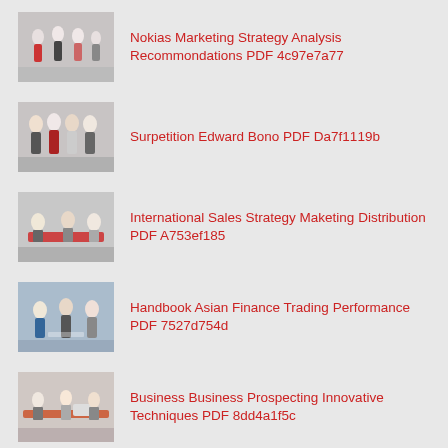Nokias Marketing Strategy Analysis Recommondations PDF 4c97e7a77
Surpetition Edward Bono PDF Da7f1119b
International Sales Strategy Maketing Distribution PDF A753ef185
Handbook Asian Finance Trading Performance PDF 7527d754d
Business Business Prospecting Innovative Techniques PDF 8dd4a1f5c
Product Information Management Practice Professionals PDF 0e21b47f3